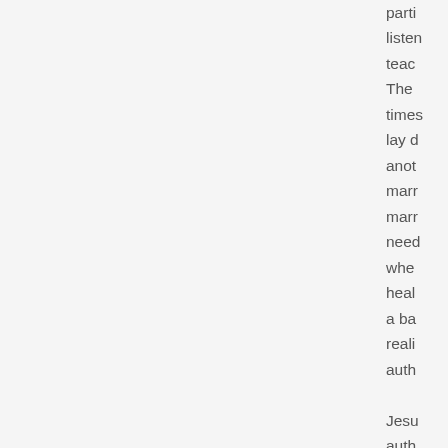parti listen teac The times lay d anot marr marr need wher heal a ba reali auth Jesu auth belie othe That in th
back to top